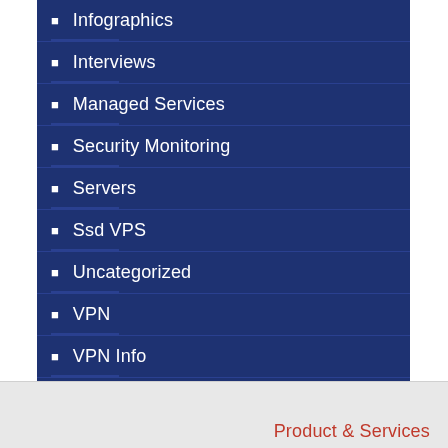Infographics
Interviews
Managed Services
Security Monitoring
Servers
Ssd VPS
Uncategorized
VPN
VPN Info
website maintenance
Wordpress
Product & Services